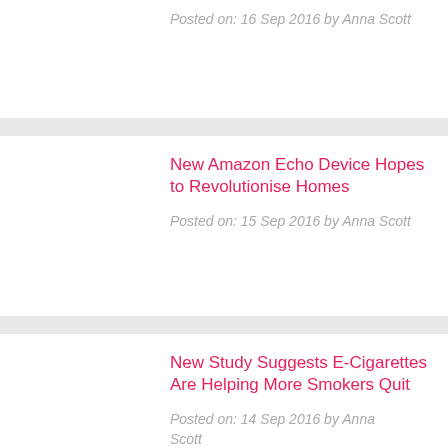Posted on: 16 Sep 2016 by Anna Scott
New Amazon Echo Device Hopes to Revolutionise Homes
Posted on: 15 Sep 2016 by Anna Scott
New Study Suggests E-Cigarettes Are Helping More Smokers Quit
Posted on: 14 Sep 2016 by Anna Scott